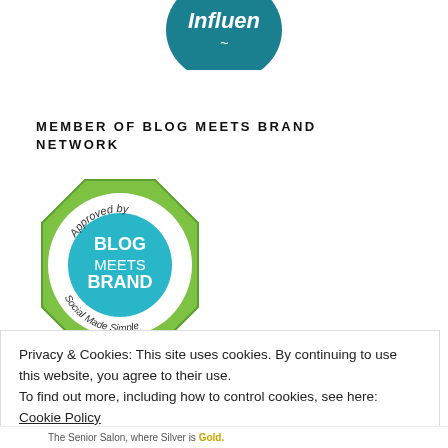[Figure (logo): Partial teal circular logo with cursive white text reading 'Influenc...' visible at top of page]
MEMBER OF BLOG MEETS BRAND NETWORK
[Figure (logo): Blog Meets Brand badge: octagonal green border, white ring with 'Approved by' and 'Social Made Simple' text, teal center circle with 'BLOG MEETS BRAND' in white text]
Privacy & Cookies: This site uses cookies. By continuing to use this website, you agree to their use.
To find out more, including how to control cookies, see here: Cookie Policy
Close and accept
The Senior Salon, where Silver is Gold.